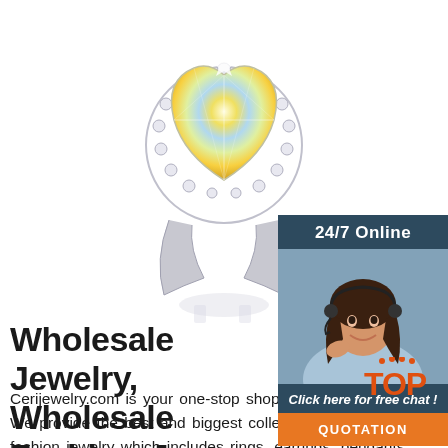[Figure (photo): A large diamond engagement ring with a yellow/iridescent heart-shaped gemstone surrounded by a halo of small diamonds, shown on a white background with a faint reflection below]
[Figure (infographic): 24/7 Online chat widget with a photo of a woman wearing a headset smiling, with text 'Click here for free chat!' and an orange 'QUOTATION' button]
Wholesale Jewelry, Wholesale Fashion Jewelry
Cerijewelry.com is your one-stop shop for wholesale jewelry. We provide the best and biggest collection of wholesale fashion jewelry which includes rings, earrings, pendants, bracelets, and more! We also wholesale sterling silver jewelry. All our wholesale
[Figure (logo): TOP logo watermark in orange/red with decorative dots]